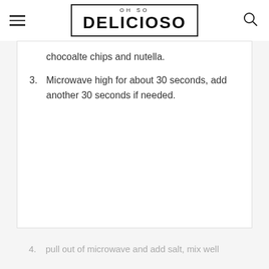OH SO DELICIOSO
chocoalte chips and nutella.
3. Microwave high for about 30 seconds, add another 30 seconds if needed.
4. pull out of microwave and add salt, mix well